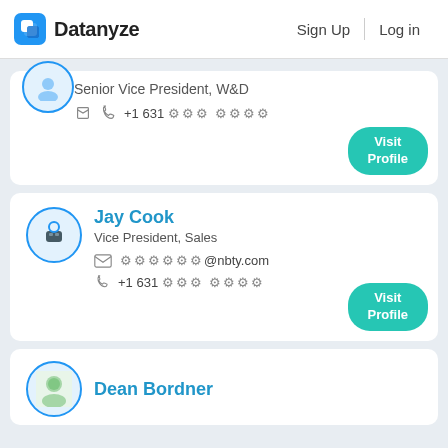Datanyze — Sign Up | Log in
Senior Vice President, W&D
+1 631 *** ****
Visit Profile
Jay Cook
Vice President, Sales
******@nbty.com
+1 631 *** ****
Visit Profile
Dean Bordner